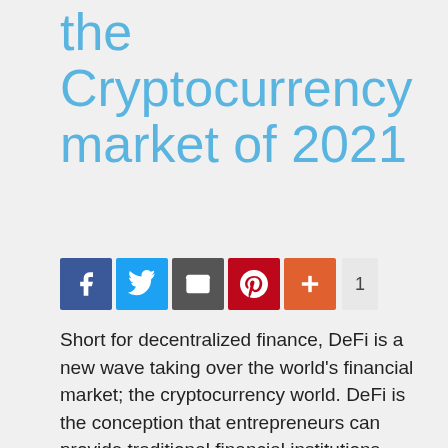the Cryptocurrency market of 2021
[Figure (other): Social sharing buttons: Facebook, Twitter, Email, Pinterest, Plus, with share count of 1]
Short for decentralized finance, DeFi is a new wave taking over the world’s financial market; the cryptocurrency world. DeFi is the conception that entrepreneurs can provide traditional financial institutions functions through a decentralized medium. There are cryptocurrencies like Bitcoin and Ethereum, the former of which has been causing significant ripples in the crypto-world since the last quarter of 2020 and the beginning of this year.